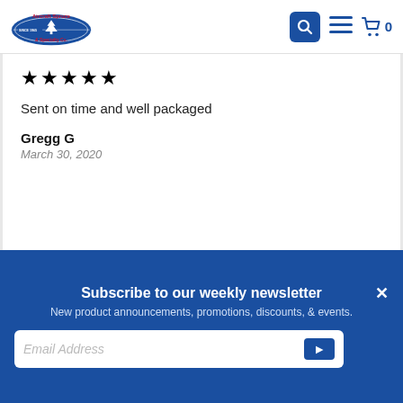Aircraft Spruce & Specialty Co. — Search, Menu, Cart (0)
★★★★★
Sent on time and well packaged
Gregg G
March 30, 2020
Subscribe to our weekly newsletter
New product announcements, promotions, discounts, & events.
Email Address